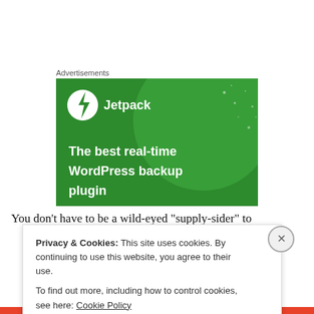Advertisements
[Figure (illustration): Jetpack advertisement on a green background showing the Jetpack logo (lightning bolt icon in a white circle with 'Jetpack' text) and text: 'The best real-time WordPress backup plugin']
You don’t have to be a wild-eyed “supply-sider” to
Privacy & Cookies: This site uses cookies. By continuing to use this website, you agree to their use.
To find out more, including how to control cookies, see here: Cookie Policy